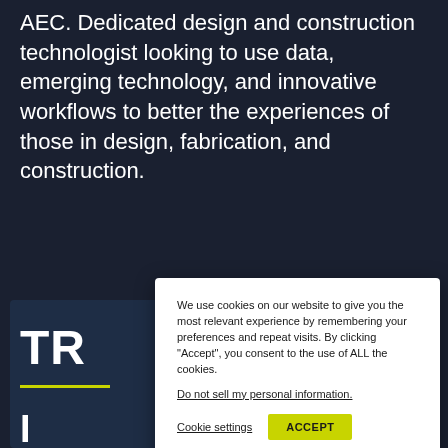AEC. Dedicated design and construction technologist looking to use data, emerging technology, and innovative workflows to better the experiences of those in design, fabrication, and construction.
We use cookies on our website to give you the most relevant experience by remembering your preferences and repeat visits. By clicking "Accept", you consent to the use of ALL the cookies.
Do not sell my personal information.
Cookie settings  ACCEPT